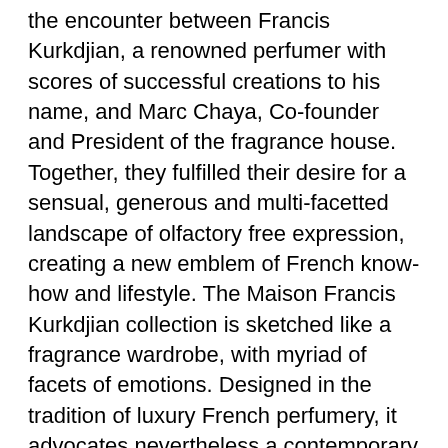the encounter between Francis Kurkdjian, a renowned perfumer with scores of successful creations to his name, and Marc Chaya, Co-founder and President of the fragrance house. Together, they fulfilled their desire for a sensual, generous and multi-facetted landscape of olfactory free expression, creating a new emblem of French know-how and lifestyle. The Maison Francis Kurkdjian collection is sketched like a fragrance wardrobe, with myriad of facets of emotions. Designed in the tradition of luxury French perfumery, it advocates nevertheless a contemporary vision of the art of creating and wearing perfume. Maison Francis Kurkdjian's unique personality is fostered by the creative power of a man who has a taste for precision. Recognized as one of the world's most celebrated perfumers, Francis Kurkdjian imagined a fragrance territory of a free, sensual and delicate perfumery. The Maison should become...